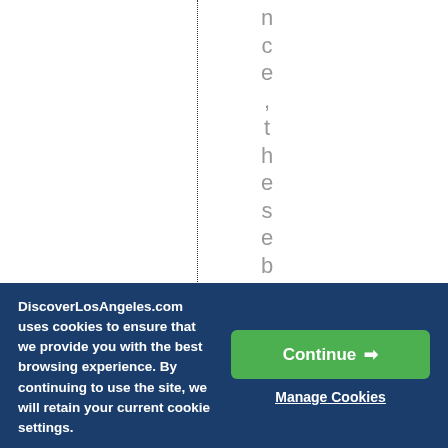[Figure (other): White area with a vertical dotted line and vertically stacked letters reading 'nce these bars have' in light gray, suggesting rotated or vertically-oriented text from a partially visible webpage.]
DiscoverLosAngeles.com uses cookies to ensure that we provide you with the best browsing experience. By continuing to use the site, we will retain your current cookie settings.
Continue →
Manage Cookies